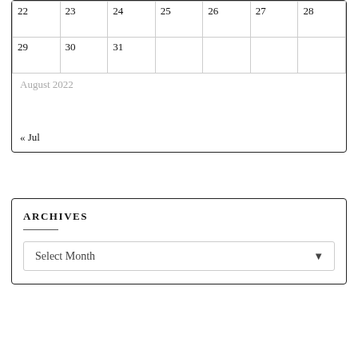| 22 | 23 | 24 | 25 | 26 | 27 | 28 |
| 29 | 30 | 31 |  |  |  |  |
August 2022
« Jul
ARCHIVES
Select Month